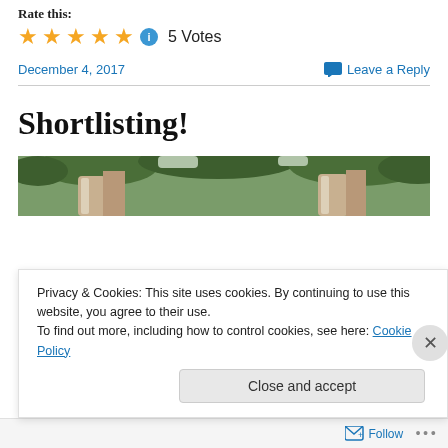Rate this:
[Figure (other): Five gold stars rating with info icon and '5 Votes' text]
December 4, 2017
Leave a Reply
Shortlisting!
[Figure (photo): Partial photo showing trees and animal fur, cropped at top of image]
Privacy & Cookies: This site uses cookies. By continuing to use this website, you agree to their use.
To find out more, including how to control cookies, see here: Cookie Policy
Close and accept
Follow